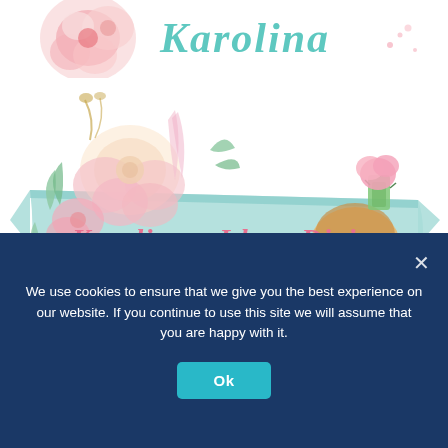[Figure (illustration): Partial header graphic showing watercolor flowers and cursive text 'Karolina' on white background]
[Figure (illustration): Banner logo for 'Karolina - I Love Digi' with teal ribbon banner, watercolor flowers, feathers, and a cute hedgehog holding pink ice cream, pink lettering on teal banner]
[Figure (illustration): Partial view of a framed/bordered content area at the bottom of the main page content]
We use cookies to ensure that we give you the best experience on our website. If you continue to use this site we will assume that you are happy with it.
Ok